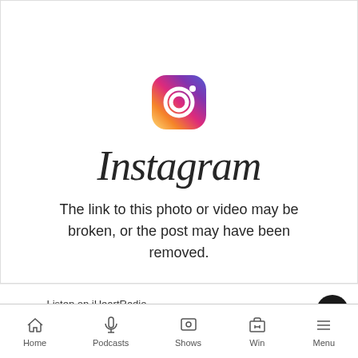[Figure (logo): Instagram logo icon — rounded square with camera outline and gradient fill (yellow-orange-pink-purple)]
Instagram
The link to this photo or video may be broken, or the post may have been removed.
LIVE Listen on iHeartRadio
All The Hits You Know And Love
Home  Podcasts  Shows  Win  Menu